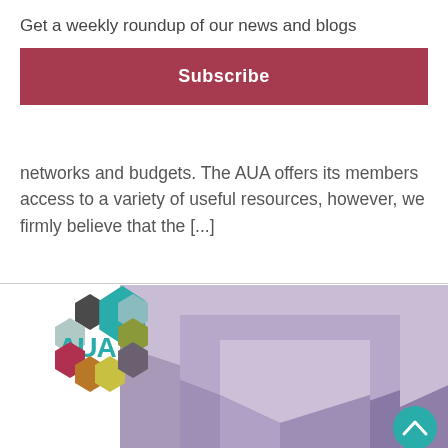×
Get a weekly roundup of our news and blogs
Subscribe
networks and budgets. The AUA offers its members access to a variety of useful resources, however, we firmly believe that the [...]
[Figure (logo): AUA (Association of University Administrators) logo with colourful hexagons and a 3D geometric building graphic]